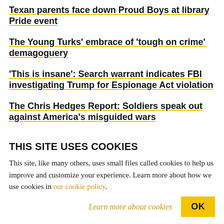Texan parents face down Proud Boys at library Pride event
The Young Turks' embrace of 'tough on crime' demagoguery
'This is insane': Search warrant indicates FBI investigating Trump for Espionage Act violation
The Chris Hedges Report: Soldiers speak out against America's misguided wars
The Chris Hedges Report: We don't need the CIA
THIS SITE USES COOKIES
This site, like many others, uses small files called cookies to help us improve and customize your experience. Learn more about how we use cookies in our cookie policy.
Learn more about cookies   OK